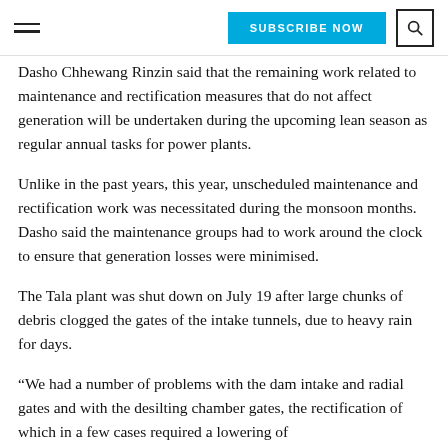SUBSCRIBE NOW
Dasho Chhewang Rinzin said that the remaining work related to maintenance and rectification measures that do not affect generation will be undertaken during the upcoming lean season as regular annual tasks for power plants.
Unlike in the past years, this year, unscheduled maintenance and rectification work was necessitated during the monsoon months. Dasho said the maintenance groups had to work around the clock to ensure that generation losses were minimised.
The Tala plant was shut down on July 19 after large chunks of debris clogged the gates of the intake tunnels, due to heavy rain for days.
“We had a number of problems with the dam intake and radial gates and with the desilting chamber gates, the rectification of which in a few cases required a lowering of